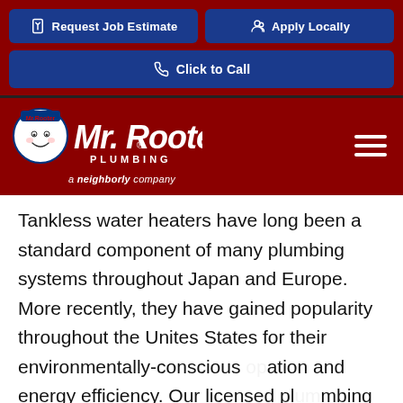[Figure (screenshot): Mr. Rooter Plumbing website header with two blue buttons: 'Request Job Estimate' and 'Apply Locally', a 'Click to Call' button, and the Mr. Rooter Plumbing logo on a dark red background with hamburger menu icon and 'a neighborly company' tagline.]
Tankless water heaters have long been a standard component of many plumbing systems throughout Japan and Europe. More recently, they have gained popularity throughout the Unites States for their environmentally-conscious ation and energy efficiency. Our licensed plumbing experts from Mr. Rooter® Plumbing can